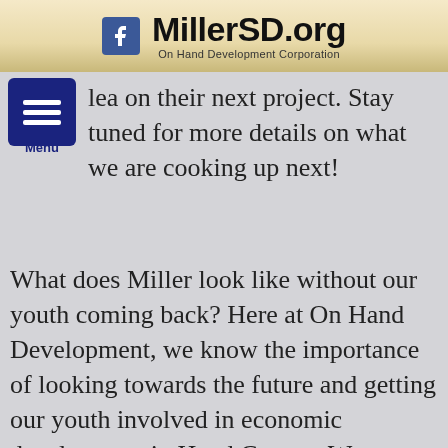MillerSD.org | On Hand Development Corporation
lea... on their next project. Stay tuned for more details on what we are cooking up next!
What does Miller look like without our youth coming back? Here at On Hand Development, we know the importance of looking towards the future and getting our youth involved in economic development in Hand County. Want to help? Learn